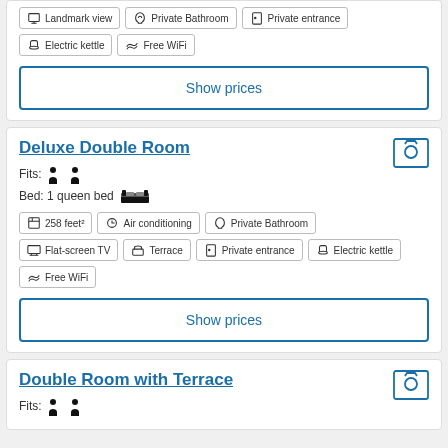Landmark view, Private Bathroom, Private entrance, Electric kettle, Free WiFi
Show prices
Deluxe Double Room
Fits: 2 adults
Bed: 1 queen bed
258 feet², Air conditioning, Private Bathroom, Flat-screen TV, Terrace, Private entrance, Electric kettle, Free WiFi
Show prices
Double Room with Terrace
Fits: 2 adults